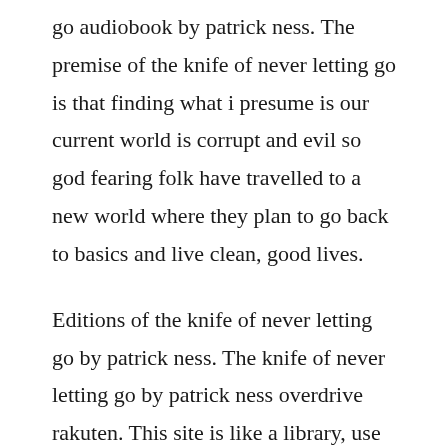go audiobook by patrick ness. The premise of the knife of never letting go is that finding what i presume is our current world is corrupt and evil so god fearing folk have travelled to a new world where they plan to go back to basics and live clean, good lives.
Editions of the knife of never letting go by patrick ness. The knife of never letting go by patrick ness overdrive rakuten. This site is like a library, use search box in the widget to get ebook that you want. The knife of never letting go download ebook pdf, epub.